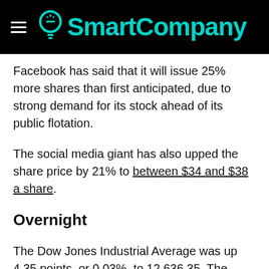SmartCompany
Facebook has said that it will issue 25% more shares than first anticipated, due to strong demand for its stock ahead of its public flotation.
The social media giant has also upped the share price by 21% to between $34 and $38 a share.
Overnight
The Dow Jones Industrial Average was up 4.35 points, or 0.03%, to 12,636.35. The Australian dollar was down